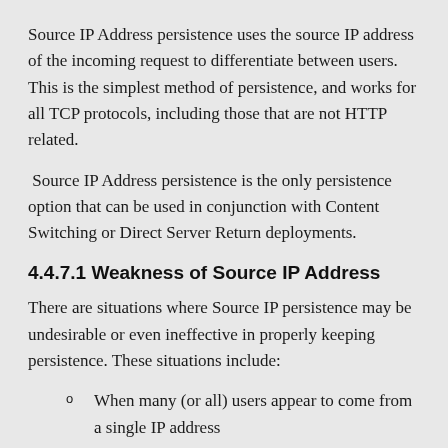Source IP Address persistence uses the source IP address of the incoming request to differentiate between users. This is the simplest method of persistence, and works for all TCP protocols, including those that are not HTTP related.
Source IP Address persistence is the only persistence option that can be used in conjunction with Content Switching or Direct Server Return deployments.
4.4.7.1 Weakness of Source IP Address
There are situations where Source IP persistence may be undesirable or even ineffective in properly keeping persistence. These situations include:
When many (or all) users appear to come from a single IP address
When a user switches IP addresses